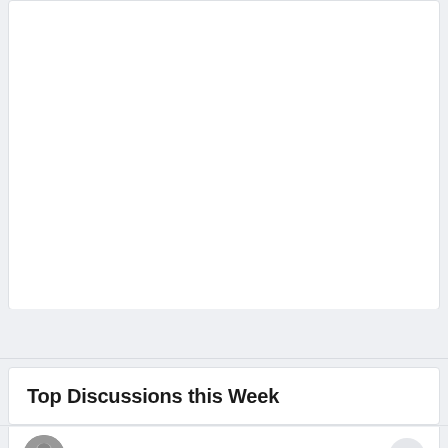[Figure (other): White content card area (top section, largely empty/whitespace)]
Top Discussions this Week
Overcoming porn addiction?  85